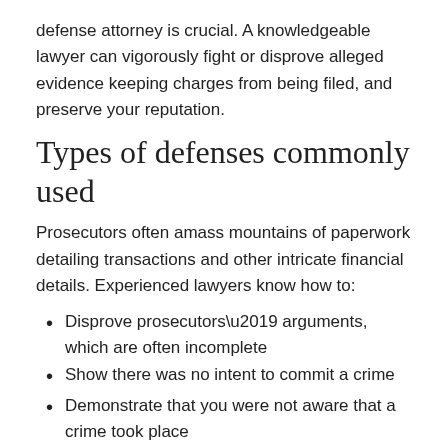defense attorney is crucial. A knowledgeable lawyer can vigorously fight or disprove alleged evidence keeping charges from being filed, and preserve your reputation.
Types of defenses commonly used
Prosecutors often amass mountains of paperwork detailing transactions and other intricate financial details. Experienced lawyers know how to:
Disprove prosecutors’ arguments, which are often incomplete
Show there was no intent to commit a crime
Demonstrate that you were not aware that a crime took place
Prove that you were coerced by someone else
Uncover proof of entrapment or other law